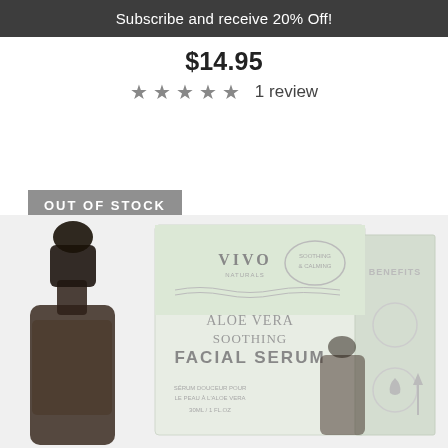Subscribe and receive 20% Off!
$14.95
★★★★★ 1 review
OUT OF STOCK
[Figure (photo): Product photo of Vivo Aloe Vera Soothing Facial Serum showing a dark glass dropper bottle beside its light green product box with 'ALOE VERA SOOTHING FACIAL SERUM' text and BENEFITS panel on the side.]